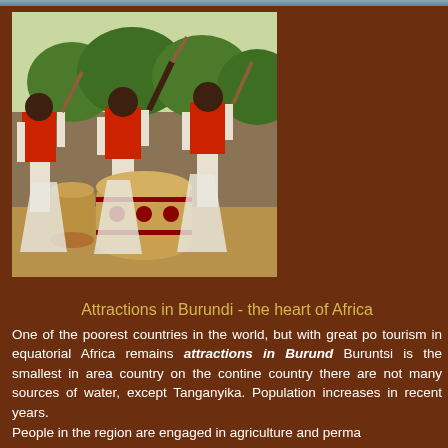[Figure (photo): African drummers in traditional red and white attire performing around large decorated drums outdoors with green trees in background]
Attractions in Burundi - the heart of Africa
One of the poorest countries in the world, but with great po tourism in equatorial Africa remains attractions in Burund Buruntsi is the smallest in area country on the contine country there are not many sources of water, except Tanganyika. Population increases in recent years. People in the region are engaged in agriculture and perma